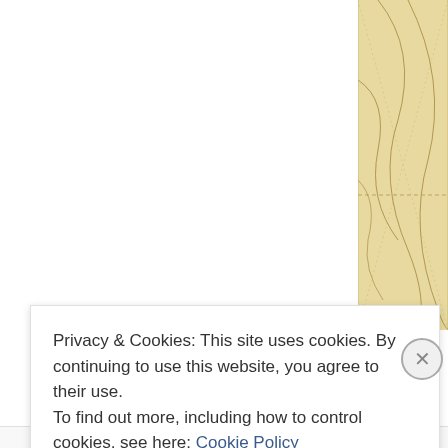[Figure (map): Partial view of a beige/tan topographic or decorative map with contour lines visible in the right portion of the page]
Privacy & Cookies: This site uses cookies. By continuing to use this website, you agree to their use.
To find out more, including how to control cookies, see here: Cookie Policy
Close and accept